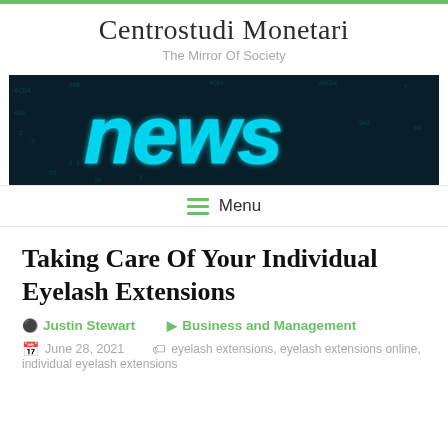Centrostudi Monetari
The Mirror Of Society
[Figure (photo): Dark digital background with glowing cyan 'news' text and tech data overlay]
≡ Menu
Taking Care Of Your Individual Eyelash Extensions
Justin Stewart   Business and Management
June 28, 2021   eyelash extensions, eyelash extensions online, individual eyelash extensions